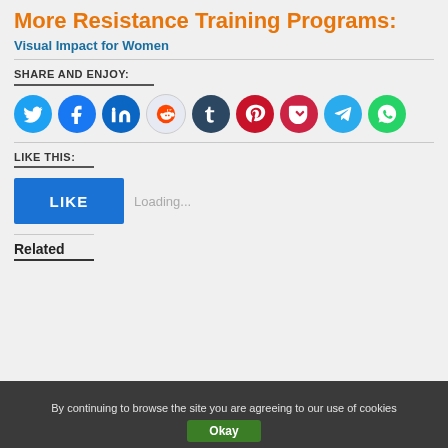More Resistance Training Programs:
Visual Impact for Women
SHARE AND ENJOY:
[Figure (infographic): Row of social media share buttons (Twitter, Facebook, LinkedIn, Reddit, Tumblr, Pinterest, Pocket, Telegram, WhatsApp) as colored circles with white icons]
LIKE THIS:
[Figure (infographic): WordPress Like button showing blue LIKE button and Loading... text]
Related
By continuing to browse the site you are agreeing to our use of cookies
Okay